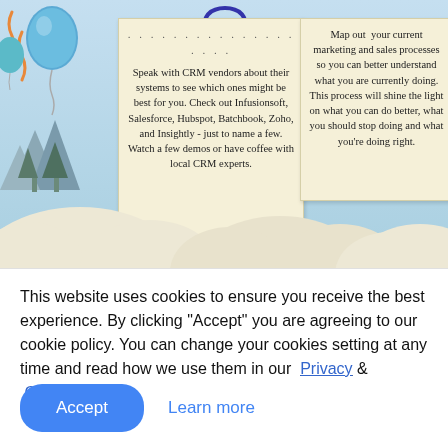[Figure (infographic): Infographic showing a sky scene with balloons, trees, mountains on the left, two note cards with text about CRM vendors and mapping marketing/sales processes, and decorative clouds at the bottom.]
This website uses cookies to ensure you receive the best experience. By clicking "Accept" you are agreeing to our cookie policy. You can change your cookies setting at any time and read how we use them in our Privacy & Cookies Policy.
Accept
Learn more